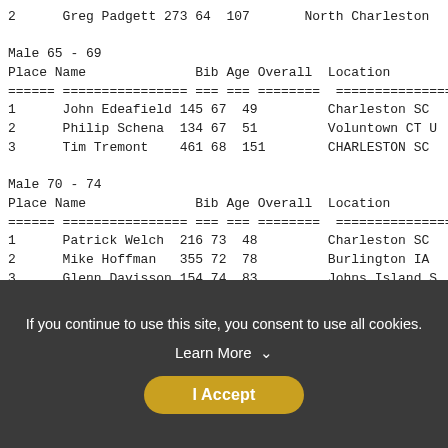| Place | Name | Bib | Age | Overall | Location |
| --- | --- | --- | --- | --- | --- |
| 2 | Greg Padgett | 273 | 64 | 107 | North Charleston |
Male 65 - 69
| Place | Name | Bib | Age | Overall | Location |
| --- | --- | --- | --- | --- | --- |
| 1 | John Edeafield | 145 | 67 | 49 | Charleston SC |
| 2 | Philip Schena | 134 | 67 | 51 | Voluntown CT U |
| 3 | Tim Tremont | 461 | 68 | 151 | CHARLESTON SC |
Male 70 - 74
| Place | Name | Bib | Age | Overall | Location |
| --- | --- | --- | --- | --- | --- |
| 1 | Patrick Welch | 216 | 73 | 48 | Charleston SC |
| 2 | Mike Hoffman | 355 | 72 | 78 | Burlington IA |
| 3 | Glenn Davisson | 154 | 74 | 83 | Johns Island S |
Male 75 - 79
| Place | Name | Bib | Age | Overall | Location |
| --- | --- | --- | --- | --- | --- |
If you continue to use this site, you consent to use all cookies.
Learn More
I Accept